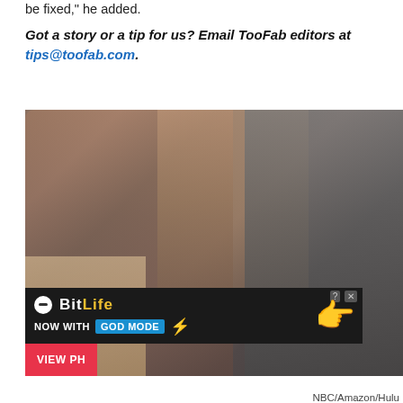be fixed," he added.
Got a story or a tip for us? Email TooFab editors at tips@toofab.com.
[Figure (photo): Photo of four people including two women in foreground, a woman in middle, and a man in military uniform on right. Text overlay reads '2019 Emmy Nominations: 12 Snubs That Stung' with an ad banner for BitLife 'NOW WITH GOD MODE' at the bottom.]
NBC/Amazon/Hulu